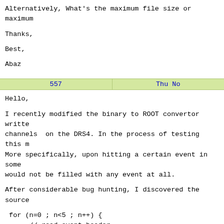Alternatively,  What's the maximum file size or maximum
Thanks,
Best,
Abaz
| 557 | Thu No |
| --- | --- |
Hello,
I recently modified the binary to ROOT convertor writte
channels  on the DRS4. In the process of testing this m
More specifically, upon hitting a certain event in some
would not be filled with any event at all.
After considerable bug hunting, I discovered the source
For some events apparently, the event header fails to b
particular file I was testing, the feof function return
So my questions deal with two scenarios.